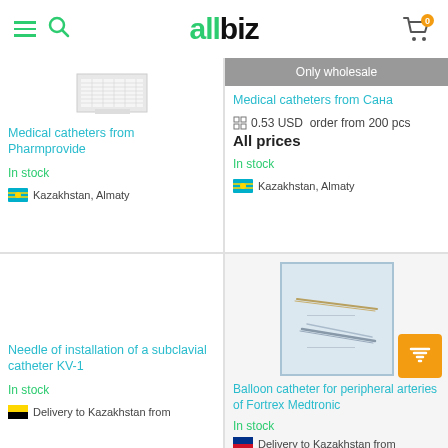allbiz
[Figure (screenshot): Medical catheter product thumbnail - grid layout from paper]
Medical catheters from Pharmprovide
In stock
Kazakhstan, Almaty
[Figure (screenshot): Only wholesale banner with product listing]
Medical catheters from Сана
0.53 USD  order from 200 pcs
All prices
In stock
Kazakhstan, Almaty
Needle of installation of a subclavial catheter KV-1
In stock
Delivery to Kazakhstan from
[Figure (photo): Balloon catheter surgical instrument image]
Balloon catheter for peripheral arteries of Fortrex Medtronic
In stock
Delivery to Kazakhstan from